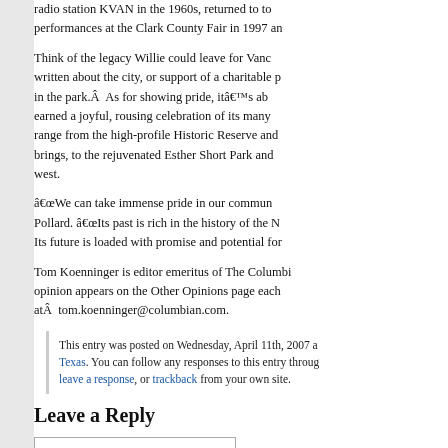radio station KVAN in the 1960s, returned to to performances at the Clark County Fair in 1997 an
Think of the legacy Willie could leave for Vanc written about the city, or support of a charitable in the park.Â  As for showing pride, itâ€™s ab earned a joyful, rousing celebration of its many range from the high-profile Historic Reserve and brings, to the rejuvenated Esther Short Park an west.
â€œWe can take immense pride in our commun Pollard. â€œIts past is rich in the history of the Its future is loaded with promise and potential for
Tom Koenninger is editor emeritus of The Columbi opinion appears on the Other Opinions page eac at  tom.koenninger@columbian.com.
This entry was posted on Wednesday, April 11th, 2007 a Texas. You can follow any responses to this entry throug leave a response, or trackback from your own site.
Leave a Reply